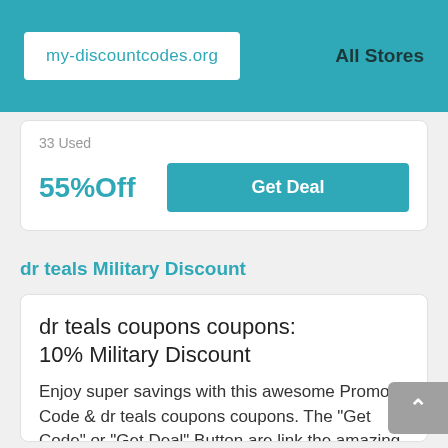my-discountcodes.org  All Stores
33 Used
55%Off
Get Deal
dr teals Military Discount
dr teals coupons coupons: 10% Military Discount
Enjoy super savings with this awesome Promo Code & dr teals coupons coupons. The "Get Code" or "Get Deal" Button are link the amazing bargains,